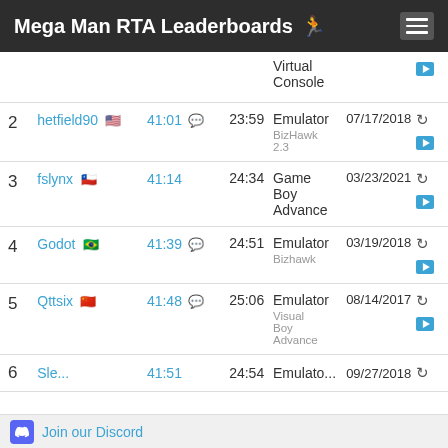Mega Man RTA Leaderboards
| # | Player | Time | IGT | Platform | Date |  |
| --- | --- | --- | --- | --- | --- | --- |
|  |  |  |  | Virtual Console |  |  |
| 2 | hetfield90 🇺🇸 | 41:01 | 23:59 | Emulator
BizHawk 2.3 | 07/17/2018 |  |
| 3 | fslynx 🇨🇱 | 41:14 | 24:34 | Game Boy Advance | 03/23/2021 |  |
| 4 | Godot 🇧🇷 | 41:39 | 24:51 | Emulator
Bizhawk | 03/19/2018 |  |
| 5 | Qttsix 🇨🇳 | 41:48 | 25:06 | Emulator
Visual Boy Advance | 08/14/2017 |  |
| 6 | ... | 41:51 | 24:54 | Emulator | 09/27/2018 |  |
Join our Discord